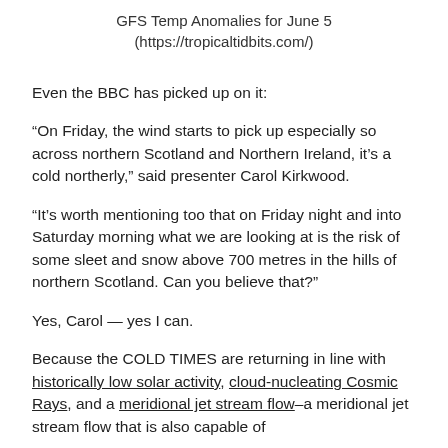GFS Temp Anomalies for June 5
(https://tropicaltidbits.com/)
Even the BBC has picked up on it:
“On Friday, the wind starts to pick up especially so across northern Scotland and Northern Ireland, it’s a cold northerly,” said presenter Carol Kirkwood.
“It’s worth mentioning too that on Friday night and into Saturday morning what we are looking at is the risk of some sleet and snow above 700 metres in the hills of northern Scotland. Can you believe that?”
Yes, Carol — yes I can.
Because the COLD TIMES are returning in line with historically low solar activity, cloud-nucleating Cosmic Rays, and a meridional jet stream flow–a meridional jet stream flow that is also capable of